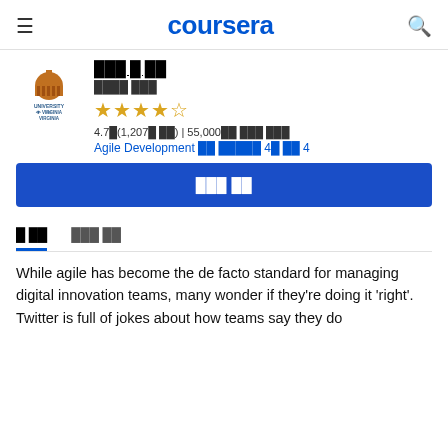coursera
███ █ ██
████ ███
★★★★☆
4.7★(1,207개 등급) | 55,000명 이상 이미 등록됨
Agile Development 전문 분야의 4개 중 4
무료로 등록
이 정보   강의 계획표
While agile has become the de facto standard for managing digital innovation teams, many wonder if they're doing it 'right'. Twitter is full of jokes about how teams say they do